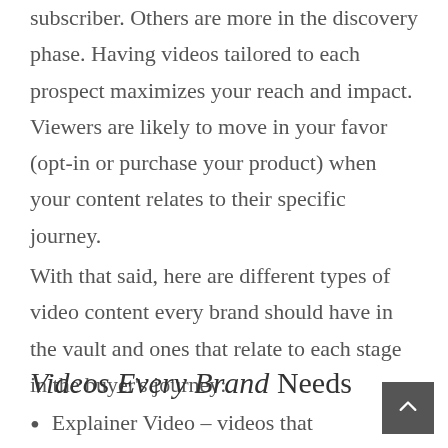subscriber. Others are more in the discovery phase. Having videos tailored to each prospect maximizes your reach and impact. Viewers are likely to move in your favor (opt-in or purchase your product) when your content relates to their specific journey.
With that said, here are different types of video content every brand should have in the vault and ones that relate to each stage in the buyer’s journey:
Videos Every Brand Needs
Explainer Video – videos that explain your product or service or offer or in